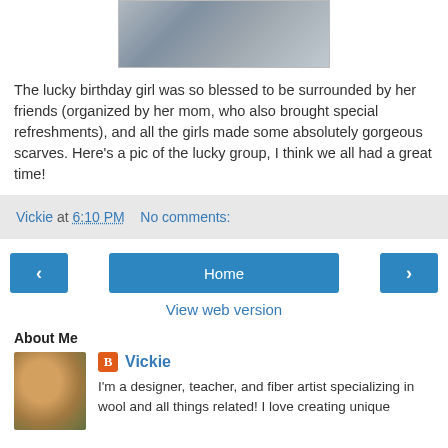[Figure (photo): Group photo of women wearing scarves at a birthday party event]
The lucky birthday girl was so blessed to be surrounded by her friends (organized by her mom, who also brought special refreshments), and all the girls made some absolutely gorgeous scarves. Here's a pic of the lucky group, I think we all had a great time!
Vickie at 6:10 PM    No comments:
Home
View web version
About Me
[Figure (photo): Profile photo of a woman with curly reddish hair smiling]
Vickie
I'm a designer, teacher, and fiber artist specializing in wool and all things related! I love creating unique